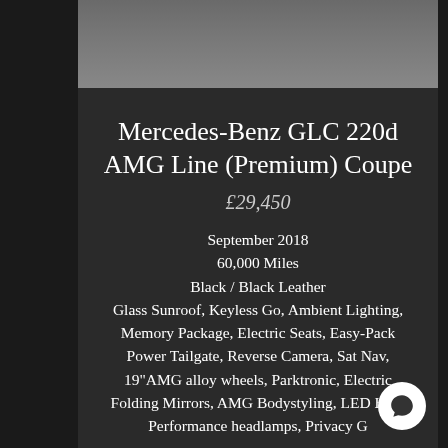[Figure (photo): Partial photo of a car on asphalt road, showing tire and road surface]
Mercedes-Benz GLC 220d AMG Line (Premium) Coupe
£29,450
September 2018
60,000 Miles
Black / Black Leather
Glass Sunroof, Keyless Go, Ambient Lighting, Memory Package, Electric Seats, Easy-Pack Power Tailgate, Reverse Camera, Sat Nav, 19"AMG alloy wheels, Parktronic, Electric Folding Mirrors, AMG Bodystyling, LED High Performance headlamps, Privacy G